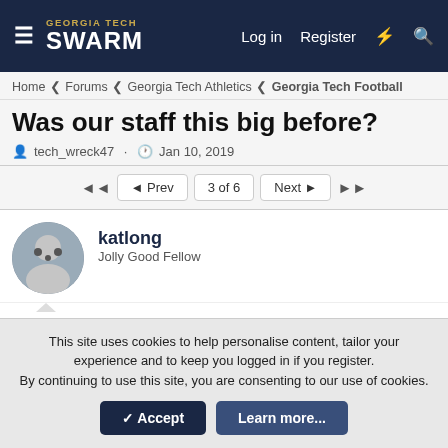GEORGIA TECH SWARM — Log in | Register
Home < Forums < Georgia Tech Athletics < Georgia Tech Football
Was our staff this big before?
tech_wreck47 · Jan 10, 2019
◄◄  ◄ Prev  3 of 6  Next ►  ►►
katlong
Jolly Good Fellow
Jan 10, 2019  #41
Has anyone put together an entire lineup? There have been so many trickles that I am not sure I remember them all or who is who!
This site uses cookies to help personalise content, tailor your experience and to keep you logged in if you register.
By continuing to use this site, you are consenting to our use of cookies.
✓ Accept  Learn more...